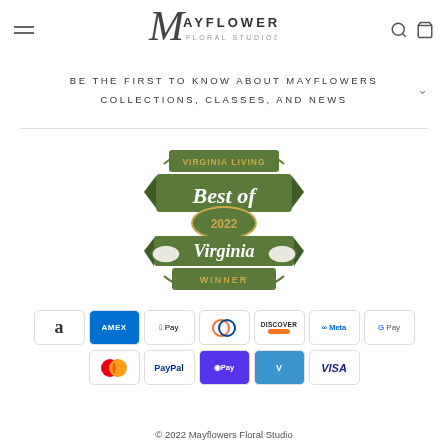MAYFLOWERS FLORAL STUDIOS
BE THE FIRST TO KNOW ABOUT MAYFLOWERS COLLECTIONS, CLASSES, AND NEWS
[Figure (logo): Virginia Living Best of 2022 Virginia Winner award badge with decorative ribbon banner in green and gold]
[Figure (infographic): Payment method icons: Amazon, Amex, Apple Pay, Diners Club, Discover, Meta Pay, Google Pay, Mastercard, PayPal, Shop Pay, Venmo, Visa]
© 2022 Mayflowers Floral Studio